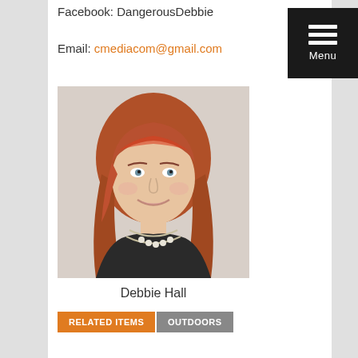Facebook: DangerousDebbie
Email: cmediacom@gmail.com
[Figure (photo): Professional headshot of Debbie Hall, a woman with long red hair wearing a dark top and layered pearl/chain necklace, photographed against a light grey background.]
Debbie Hall
RELATED ITEMS
OUTDOORS